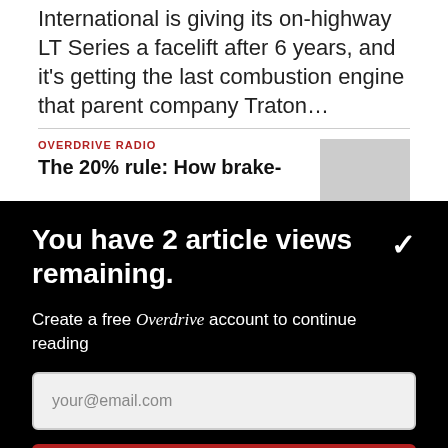International is giving its on-highway LT Series a facelift after 6 years, and it's getting the last combustion engine that parent company Traton…
OVERDRIVE RADIO
The 20% rule: How brake-
You have 2 article views remaining.
Create a free Overdrive account to continue reading
your@email.com
CONTINUE